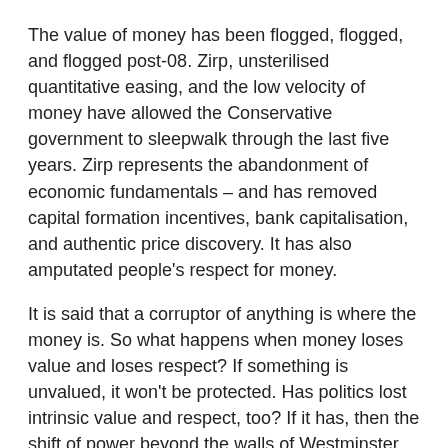The value of money has been flogged, flogged, and flogged post-08. Zirp, unsterilised quantitative easing, and the low velocity of money have allowed the Conservative government to sleepwalk through the last five years. Zirp represents the abandonment of economic fundamentals – and has removed capital formation incentives, bank capitalisation, and authentic price discovery. It has also amputated people's respect for money.
It is said that a corruptor of anything is where the money is. So what happens when money loses value and loses respect? If something is unvalued, it won't be protected. Has politics lost intrinsic value and respect, too? If it has, then the shift of power beyond the walls of Westminster might be as I suggest – and that is why the propaganda is barefaced.
Is the people's power submissive like Farage? After all, to